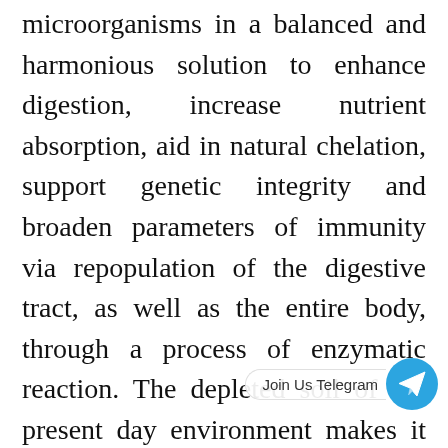microorganisms in a balanced and harmonious solution to enhance digestion, increase nutrient absorption, aid in natural chelation, support genetic integrity and broaden parameters of immunity via repopulation of the digestive tract, as well as the entire body, through a process of enzymatic reaction. The depleted soil of the present day environment makes it impossible to obtain proper nutrition from food grown in soil, much less do we have sufficient microbes in our systems to ensure the electrical availability, or zeta potential, we would